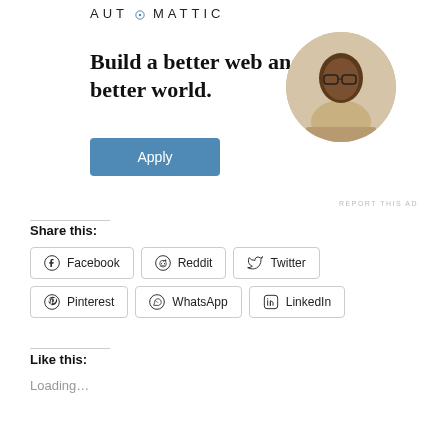[Figure (logo): Automattic logo text in uppercase with a circled O in the middle]
[Figure (infographic): Automattic advertisement: Build a better web and a better world. Apply button and circular photo of a man thinking at a desk.]
REPORT THIS AD
Share this:
Facebook
Reddit
Twitter
Pinterest
WhatsApp
LinkedIn
Like this:
Loading...